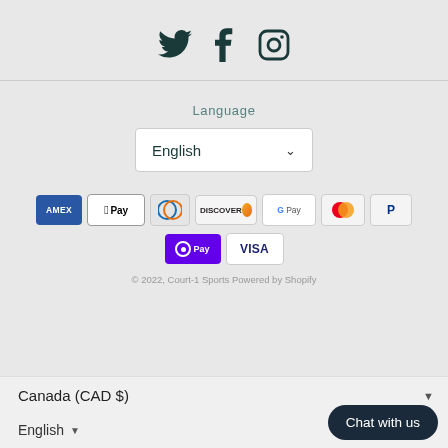[Figure (other): Social media icons: Twitter bird, Facebook F, Instagram camera]
Language
[Figure (other): Language selector dropdown showing 'English' with chevron]
[Figure (other): Payment method icons: Amex, Apple Pay, Diners Club, Discover, Google Pay, Mastercard, PayPal, OPay, Visa]
© 2022, Court-1 Sports Powered by Shopify
Canada (CAD $)
English
Chat with us